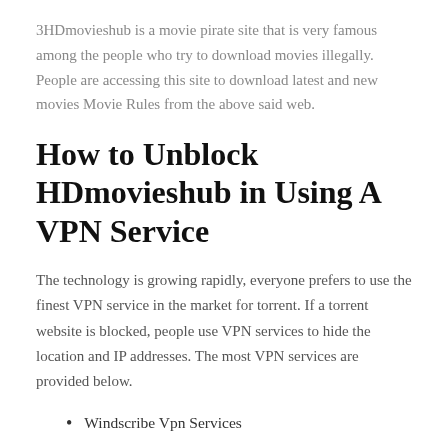3HDmovieshub is a movie pirate site that is very famous among the people who try to download movies illegally. People are accessing this site to download latest and new movies Movie Rules from the above said web.
How to Unblock HDmovieshub in Using A VPN Service
The technology is growing rapidly, everyone prefers to use the finest VPN service in the market for torrent. If a torrent website is blocked, people use VPN services to hide the location and IP addresses. The most VPN services are provided below.
Windscribe Vpn Services
TunnelBear Vpn Services
Surfshark Vpn Services